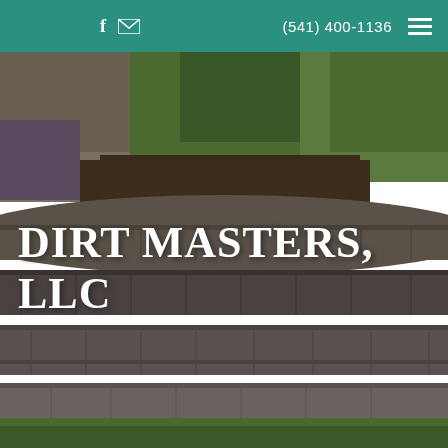f  ✉  (541) 400-1136  ☰
[Figure (photo): Background photo of a curved stone/brick retaining wall with planted garden bed on top containing green grasses and shrubs, with more stone wall and purple flowers visible in background. Green lawn in foreground. Photo is the full-page hero image of a landscaping company website.]
DIRT MASTERS, LLC